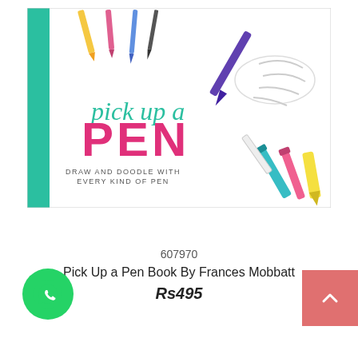[Figure (illustration): Book cover of 'Pick Up a Pen: Draw and Doodle with Every Kind of Pen' by Frances Mobbatt. Features a teal spine on the left, illustrated pens and pencils at the top, a hand holding a purple fountain pen, the cursive title 'pick up a pen' in teal/green, large bold pink letters 'PEN', subtitle 'DRAW AND DOODLE WITH EVERY KIND OF PEN', and various pen illustrations on the right.]
607970
Pick Up a Pen Book By Frances Mobbatt
Rs495